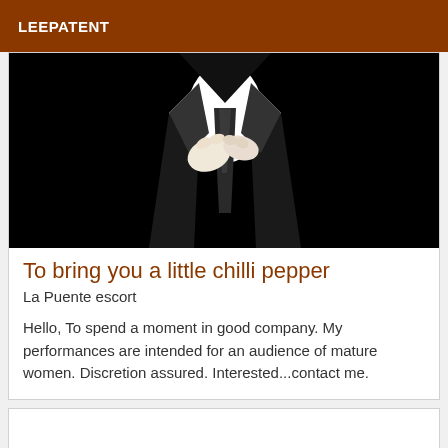LEEPATENT
[Figure (illustration): Black background illustration showing the upper torso and hands of a person in a dark suit and white shirt, with hands clasped or touching at the chest/neck area]
To bring you a little chilli pepper
La Puente escort
Hello, To spend a moment in good company. My performances are intended for an audience of mature women. Discretion assured. Interested...contact me.